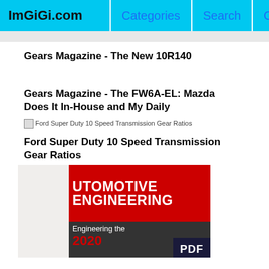ImGiGi.com | Categories | Search | Contact
Gears Magazine - The New 10R140
Gears Magazine - The FW6A-EL: Mazda Does It In-House and My Daily
[Figure (illustration): Broken image placeholder: Ford Super Duty 10 Speed Transmission Gear Ratios]
Ford Super Duty 10 Speed Transmission Gear Ratios
[Figure (illustration): Automotive Engineering magazine cover showing red background with white text 'UTOMOTIVE ENGINEERING', dark section with 'Engineering the 2020' in white/red, and PDF badge in dark blue]